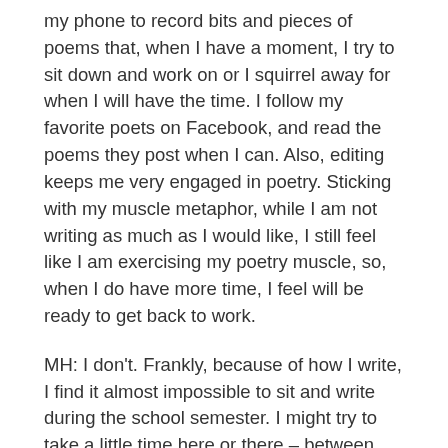my phone to record bits and pieces of poems that, when I have a moment, I try to sit down and work on or I squirrel away for when I will have the time. I follow my favorite poets on Facebook, and read the poems they post when I can. Also, editing keeps me very engaged in poetry. Sticking with my muscle metaphor, while I am not writing as much as I would like, I still feel like I am exercising my poetry muscle, so, when I do have more time, I feel will be ready to get back to work.
MH: I don't. Frankly, because of how I write, I find it almost impossible to sit and write during the school semester. I might try to take a little time here or there – between work or parenting or being a person involved with the world – to some prose, but it's nearly impossible. My advice for someone struggling to find some balance is to wake up earlier. Go to bed later. Carve out time to separate yourself from your real life so that you can live inside constructed narratives for a while. If you can't carve that time out, be